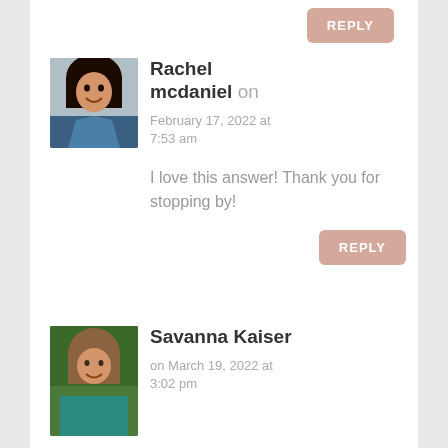[Figure (other): REPLY button at top of page]
[Figure (photo): Profile photo of Rachel mcdaniel — woman with dark hair, smiling, wearing a denim jacket, in front of a gray background]
Rachel mcdaniel on February 17, 2022 at 7:53 am
I love this answer! Thank you for stopping by!
[Figure (other): REPLY button below Rachel mcdaniel comment]
[Figure (photo): Profile photo of Savanna Kaiser — woman with light brown hair, smiling, wearing a teal top, outdoor background]
Savanna Kaiser on March 19, 2022 at 3:02 pm